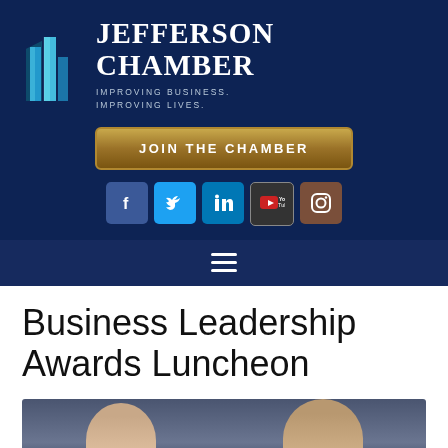[Figure (logo): Jefferson Chamber logo with building icon, text 'JEFFERSON CHAMBER', tagline 'IMPROVING BUSINESS. IMPROVING LIVES.']
[Figure (infographic): JOIN THE CHAMBER button with golden gradient styling]
[Figure (infographic): Social media icons row: Facebook, Twitter, LinkedIn, YouTube, Instagram]
[Figure (infographic): Hamburger navigation menu icon (three horizontal lines)]
Business Leadership Awards Luncheon
[Figure (photo): Photo of two people (woman and man) at an event, partially visible]